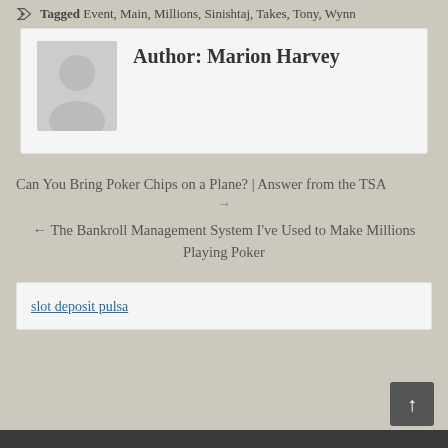Tagged Event, Main, Millions, Sinishtaj, Takes, Tony, Wynn
Author: Marion Harvey
Can You Bring Poker Chips on a Plane? | Answer from the TSA →
← The Bankroll Management System I've Used to Make Millions Playing Poker
slot deposit pulsa